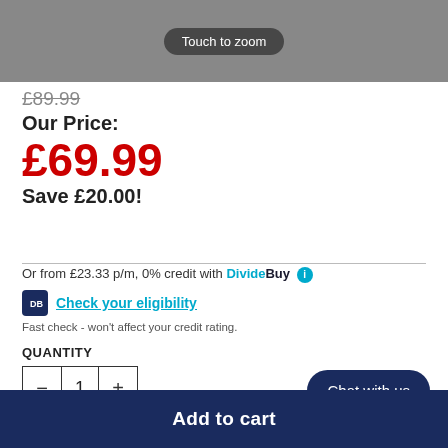[Figure (photo): Product image with 'Touch to zoom' overlay button on a dark stone/concrete background]
£89.99
Our Price:
£69.99
Save £20.00!
Or from £23.33 p/m, 0% credit with DivideBuy
Check your eligibility
Fast check - won't affect your credit rating.
QUANTITY
1
Chat with us
Add to cart